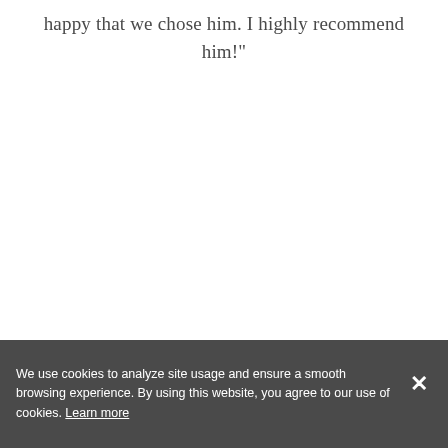happy that we chose him. I highly recommend him!"
We use cookies to analyze site usage and ensure a smooth browsing experience. By using this website, you agree to our use of cookies. Learn more